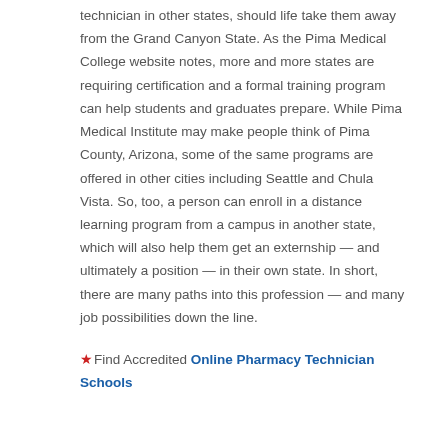technician in other states, should life take them away from the Grand Canyon State. As the Pima Medical College website notes, more and more states are requiring certification and a formal training program can help students and graduates prepare. While Pima Medical Institute may make people think of Pima County, Arizona, some of the same programs are offered in other cities including Seattle and Chula Vista. So, too, a person can enroll in a distance learning program from a campus in another state, which will also help them get an externship — and ultimately a position — in their own state. In short, there are many paths into this profession — and many job possibilities down the line.
★Find Accredited Online Pharmacy Technician Schools